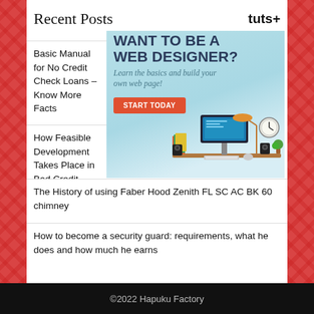Recent Posts
[Figure (illustration): tuts+ advertisement banner: 'WANT TO BE A WEB DESIGNER? Learn the basics and build your own web page! START TODAY' with desk illustration showing computer, books, clock, lamp, speakers]
Basic Manual for No Credit Check Loans – Know More Facts
How Feasible Development Takes Place in Bad Credit Loans?
The History of using Faber Hood Zenith FL SC AC BK 60 chimney
How to become a security guard: requirements, what he does and how much he earns
Tips and Hints to Safeguard Cats from Sick in Air Conditioning
©2022 Hapuku Factory